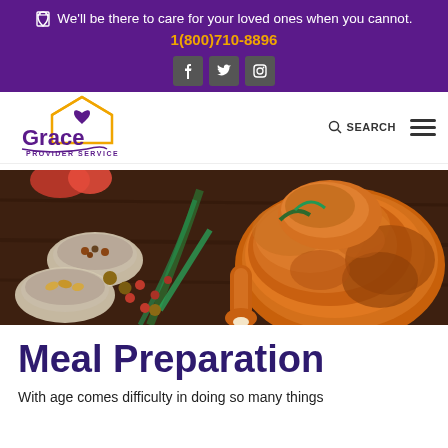We'll be there to care for your loved ones when you cannot. 1(800)710-8896
[Figure (logo): Grace Provider Service logo with house and heart icon]
[Figure (photo): Roasted turkey/chicken on a table surrounded by spices, cranberries, pine sprigs, and bowls of condiments]
Meal Preparation
With age comes difficulty in doing so many things